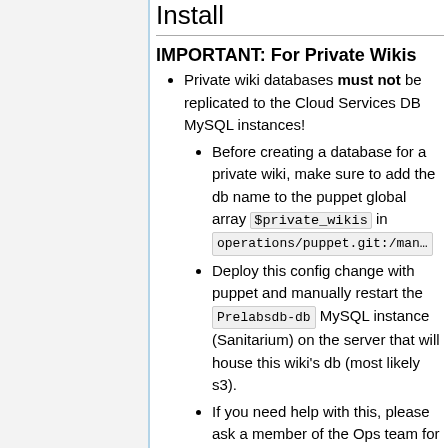Install
IMPORTANT: For Private Wikis
Private wiki databases must not be replicated to the Cloud Services DB MySQL instances!
Before creating a database for a private wiki, make sure to add the db name to the puppet global array $private_wikis in operations/puppet.git:/man…
Deploy this config change with puppet and manually restart the Prelabsdb-db MySQL instance (Sanitarium) on the server that will house this wiki's db (most likely s3).
If you need help with this, please ask a member of the Ops team for help. This is very important.